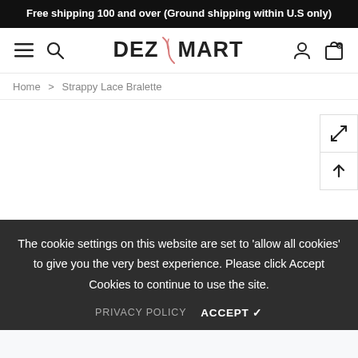Free shipping 100 and over (Ground shipping within U.S only)
[Figure (logo): DezMart logo with navigation icons: hamburger menu, search, logo text DEZMART, user icon, shopping bag icon]
Home > Strappy Lace Bralette
[Figure (other): Blank product page area with sidebar navigation icons: expand/fullscreen and up-arrow]
The cookie settings on this website are set to 'allow all cookies' to give you the very best experience. Please click Accept Cookies to continue to use the site.
PRIVACY POLICY   ACCEPT ✓